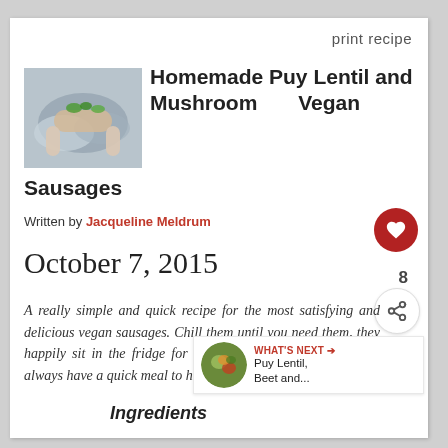print recipe
[Figure (photo): Hands holding a vegan sausage with greens]
Homemade Puy Lentil and Mushroom Vegan Sausages
Written by Jacqueline Meldrum
October 7, 2015
A really simple and quick recipe for the most satisfying and delicious vegan sausages. Chill them until you need them, they happily sit in the fridge for 2-3 days or freeze them so you always have a quick meal to hand.
Ingredients